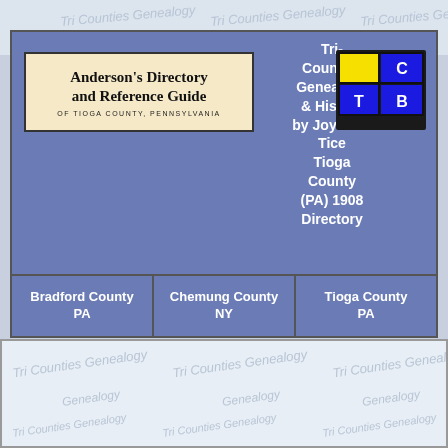[Figure (other): Anderson's Directory and Reference Guide of Tioga County, Pennsylvania — book cover image in beige/cream box]
Tri-Counties Genealogy & History by Joyce M. Tice Tioga County (PA) 1908 Directory
[Figure (other): Map logo showing three county sections labeled C, T, B in yellow and blue]
| Bradford County PA | Chemung County NY | Tioga County PA |
| --- | --- | --- |
[Figure (other): Watermark repeated pattern reading Tri Counties Genealogy on light blue background]